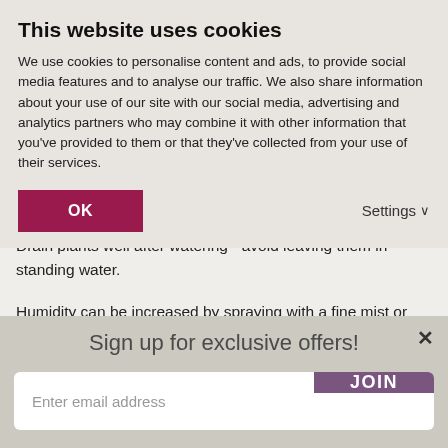This website uses cookies
We use cookies to personalise content and ads, to provide social media features and to analyse our traffic. We also share information about your use of our site with our social media, advertising and analytics partners who may combine it with other information that you've provided to them or that they've collected from your use of their services.
OK
Settings ∨
Drain plants well after watering - avoid leaving them in standing water.
Humidity can be increased by spraying with a fine mist or standing pots on a pebble tray filled with water.
Keep an eye out for pests such as aphid, mealy bug, spider mite and
Sign up for exclusive offers!
×
Enter email address
JOIN